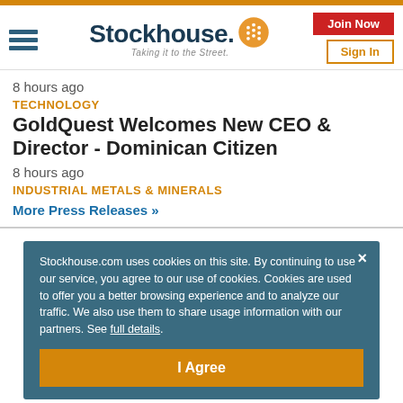[Figure (logo): Stockhouse logo with icon and tagline 'Taking it to the Street.']
8 hours ago
TECHNOLOGY
GoldQuest Welcomes New CEO & Director - Dominican Citizen
8 hours ago
INDUSTRIAL METALS & MINERALS
More Press Releases »
Stockhouse.com uses cookies on this site. By continuing to use our service, you agree to our use of cookies. Cookies are used to offer you a better browsing experience and to analyze our traffic. We also use them to share usage information with our partners. See full details.
I Agree